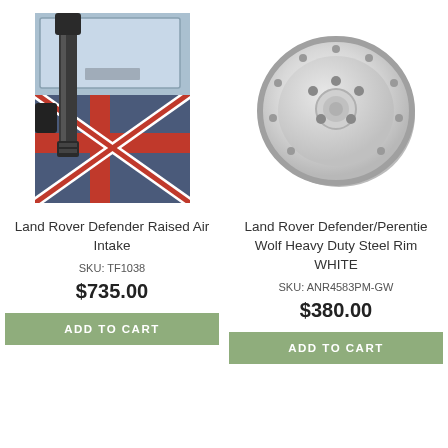[Figure (photo): Photo of a Land Rover Defender with a raised air intake / snorkel mounted on the side, Union Jack flag graphic on the door, dark grey snorkel pipe visible]
[Figure (photo): Photo of a white/grey heavy duty steel rim wheel for Land Rover Defender/Perentie Wolf, round steel wheel with bolt holes]
Land Rover Defender Raised Air Intake
SKU: TF1038
$735.00
ADD TO CART
Land Rover Defender/Perentie Wolf Heavy Duty Steel Rim WHITE
SKU: ANR4583PM-GW
$380.00
ADD TO CART